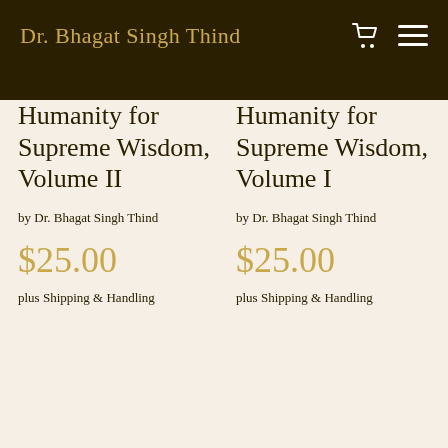Dr. Bhagat Singh Thind
Humanity for Supreme Wisdom, Volume II
by Dr. Bhagat Singh Thind
$25.00
plus Shipping & Handling
Humanity for Supreme Wisdom, Volume I
by Dr. Bhagat Singh Thind
$25.00
plus Shipping & Handling